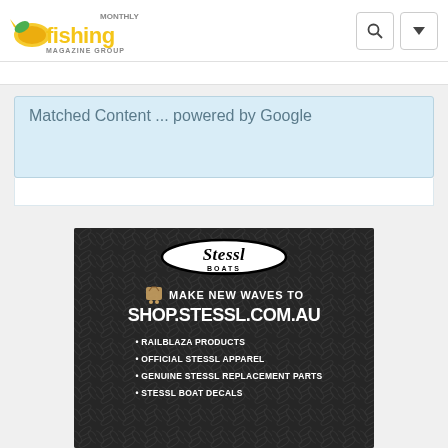Fishing Monthly Magazine Group
Matched Content ... powered by Google
[Figure (infographic): Stessl Boats advertisement on dark diamond-plate background. Text reads: MAKE NEW WAVES TO SHOP.STESSL.COM.AU • RAILBLAZA PRODUCTS • OFFICIAL STESSL APPAREL • GENUINE STESSL REPLACEMENT PARTS • STESSL BOAT DECALS]